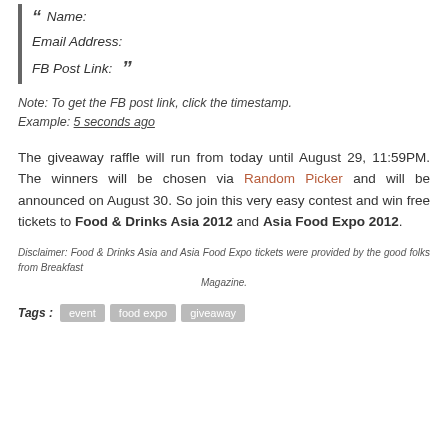" Name:
Email Address:
FB Post Link: "
Note: To get the FB post link, click the timestamp. Example: 5 seconds ago
The giveaway raffle will run from today until August 29, 11:59PM. The winners will be chosen via Random Picker and will be announced on August 30. So join this very easy contest and win free tickets to Food & Drinks Asia 2012 and Asia Food Expo 2012.
Disclaimer: Food & Drinks Asia and Asia Food Expo tickets were provided by the good folks from Breakfast Magazine.
Tags : event   food expo   giveaway